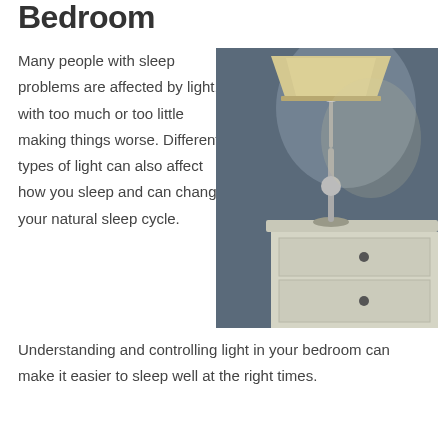Bedroom
Many people with sleep problems are affected by light, with too much or too little making things worse. Different types of light can also affect how you sleep and can change your natural sleep cycle.
[Figure (photo): A bedside lamp with a beige shade on a white nightstand with two drawers, against a dark blue-grey wall.]
Understanding and controlling light in your bedroom can make it easier to sleep well at the right times.